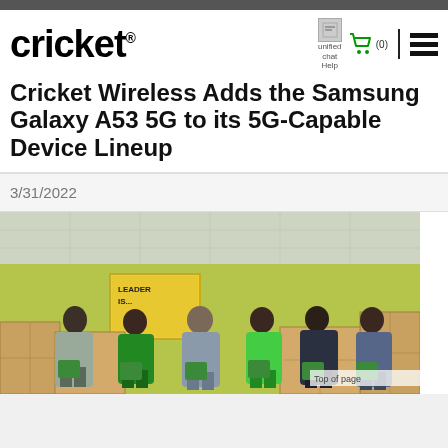cricket®
Cricket Wireless Adds the Samsung Galaxy A53 5G to its 5G-Capable Device Lineup
3/31/2022
[Figure (photo): Group of six people standing in front of cardboard boxes in a room with yellow-green walls and a bulletin board reading 'LEADER IS...', each holding green packages/bags]